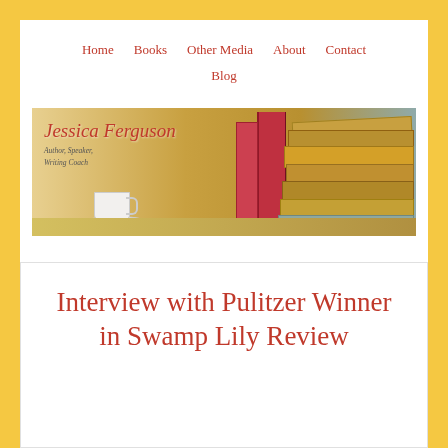Home    Books    Other Media    About    Contact    Blog
[Figure (photo): Website banner for Jessica Ferguson, Author, Speaker, Writing Coach. Shows a stack of old hardcover books in warm yellow-brown tones, a red book standing upright, and a white teacup and saucer in the lower left corner.]
Interview with Pulitzer Winner in Swamp Lily Review